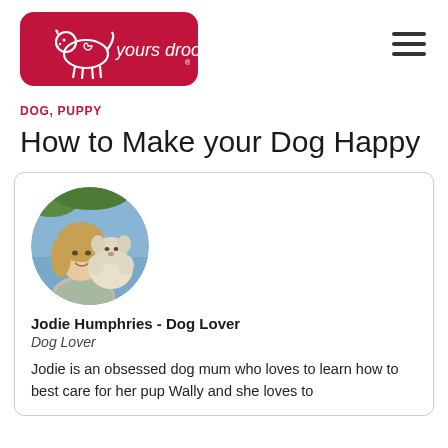yours droolly
DOG, PUPPY
How to Make your Dog Happy
[Figure (photo): Circular profile photo of Jodie Humphries, a smiling woman with long blonde hair, holding a fluffy white/cream dog outdoors near water]
Jodie Humphries - Dog Lover
Dog Lover
Jodie is an obsessed dog mum who loves to learn how to best care for her pup Wally and she loves to